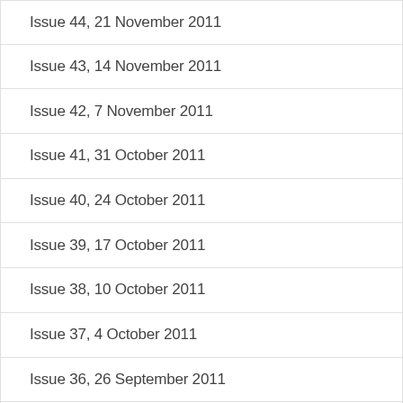Issue 44, 21 November 2011
Issue 43, 14 November 2011
Issue 42, 7 November 2011
Issue 41, 31 October 2011
Issue 40, 24 October 2011
Issue 39, 17 October 2011
Issue 38, 10 October 2011
Issue 37, 4 October 2011
Issue 36, 26 September 2011